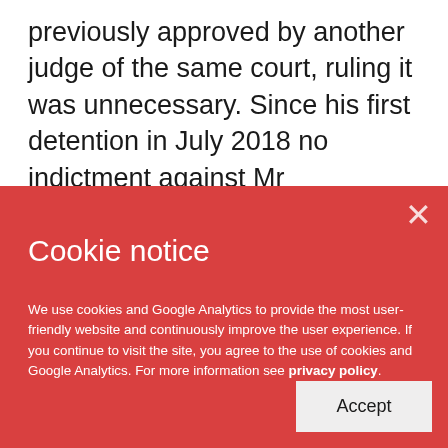previously approved by another judge of the same court, ruling it was unnecessary. Since his first detention in July 2018 no indictment against Mr Marchlewicz has been filed by the prosecution.
Cookie notice
We use cookies and Google Analytics to provide the most user-friendly website and continuously improve the user experience. If you continue to visit the site, you agree to the use of cookies and Google Analytics. For more information see privacy policy.